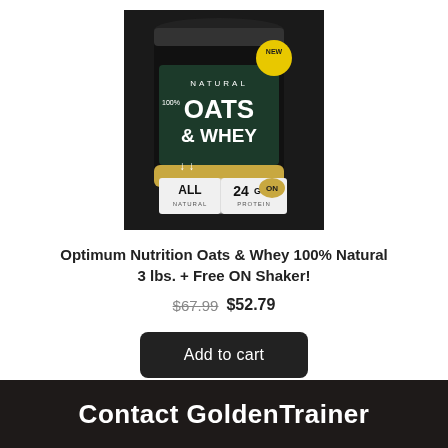[Figure (photo): Product photo of Optimum Nutrition 100% Natural Oats & Whey protein powder container, dark background, showing 'ALL NATURAL' and '24g PROTEIN' labels, with a yellow 'NEW' badge.]
Optimum Nutrition Oats & Whey 100% Natural 3 lbs. + Free ON Shaker!
$67.99 $52.79
Add to cart
Contact GoldenTrainer